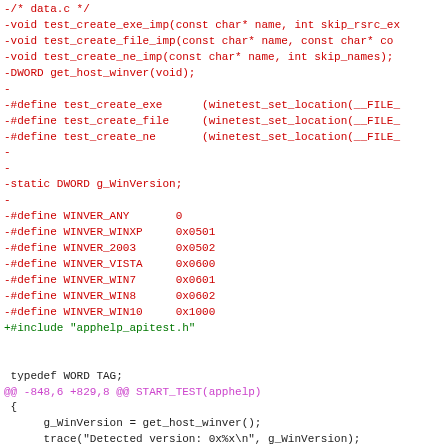[Figure (screenshot): A code diff view showing removed lines in red (prefixed with -) and added lines in green (prefixed with +), plus context lines. The diff covers data.c with function declarations, #define macros for WINVER constants, and a hunk header for START_TEST(apphelp), followed by context code lines.]